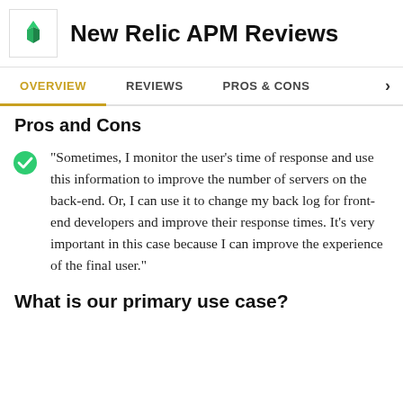New Relic APM Reviews
OVERVIEW | REVIEWS | PROS & CONS
Pros and Cons
"Sometimes, I monitor the user's time of response and use this information to improve the number of servers on the back-end. Or, I can use it to change my back log for front-end developers and improve their response times. It's very important in this case because I can improve the experience of the final user."
What is our primary use case?